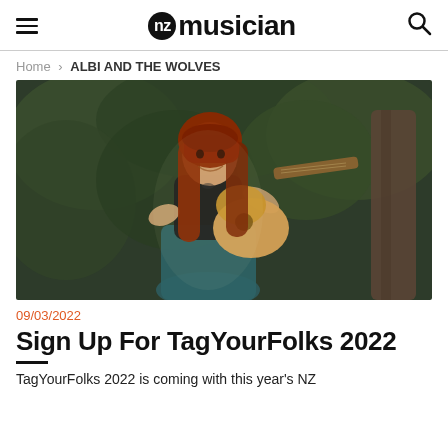NZ Musician
Home > ALBI AND THE WOLVES
[Figure (photo): Woman with long red hair smiling and playing an acoustic guitar outdoors in a forested setting, wearing a black top and teal skirt.]
09/03/2022
Sign Up For TagYourFolks 2022
TagYourFolks 2022 is coming with this year's NZ